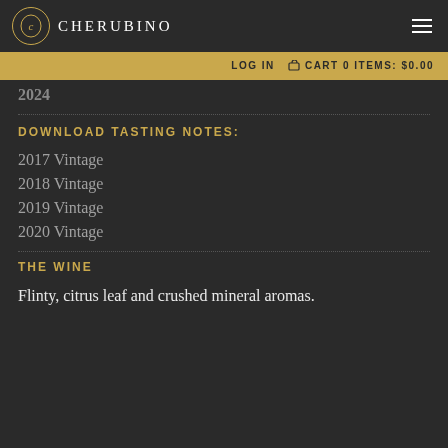Cherubino
LOG IN  CART 0 ITEMS: $0.00
DOWNLOAD TASTING NOTES:
2017 Vintage
2018 Vintage
2019 Vintage
2020 Vintage
THE WINE
Flinty, citrus leaf and crushed mineral aromas.